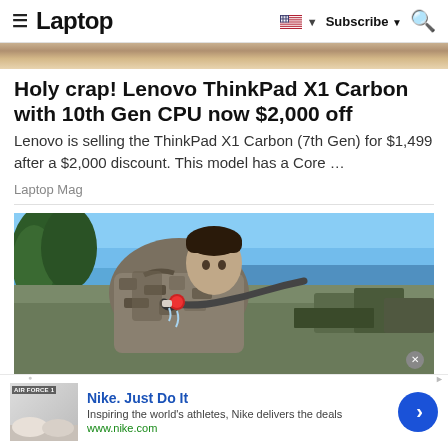≡  Laptop  🇺🇸 ▼  Subscribe ▼  🔍
[Figure (photo): Partial view of a laptop on a surface — top strip of image showing laptop lid]
Holy crap! Lenovo ThinkPad X1 Carbon with 10th Gen CPU now $2,000 off
Lenovo is selling the ThinkPad X1 Carbon (7th Gen) for $1,499 after a $2,000 discount. This model has a Core …
Laptop Mag
[Figure (photo): A soldier in camouflage uniform leaning forward drinking from a hose outdoors near a beach]
Nike. Just Do It
Inspiring the world's athletes, Nike delivers the deals
www.nike.com